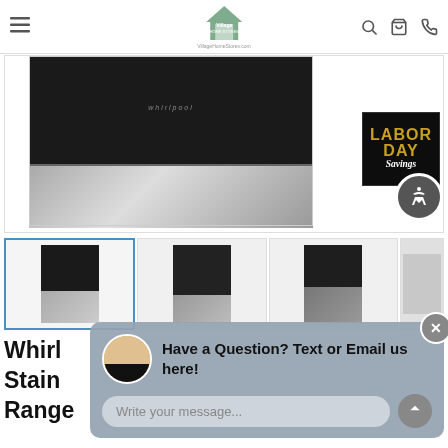Village Home Stores - VillageHomeStores.com
[Figure (photo): Whirlpool range with black top and stainless steel drawer panel, product main image]
[Figure (illustration): Labor Day Savings promotional badge with gold text on black background]
[Figure (photo): Thumbnail gallery of Whirlpool range appliance from multiple angles, four thumbnail images]
Whirl Stain Range
Have a Question? Text or Email us here!
Write your message...